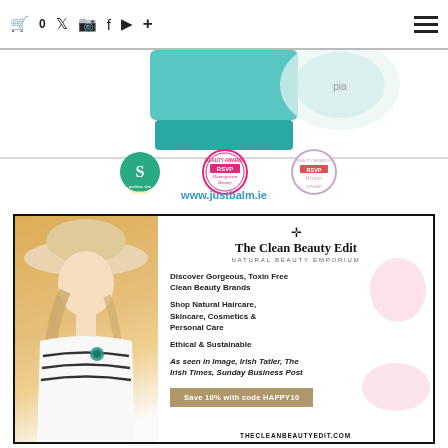0 (cart) | Twitter | Instagram | Facebook | YouTube | + | ≡
[Figure (photo): Top advertisement banner showing cosmetic product containers (teal and white jars), award badges including Societe Skin Bronze award, Homegrown Beauty RSVP award, and RSVP Winner Beauty Awards badge]
www.justbalm.ie
[Figure (advertisement): The Clean Beauty Edit advertisement with a woman wearing a wide-brimmed hat in a yellow/cream background on the left, and text content on the right: cross symbol, The Clean Beauty Edit, Natural Beauty Emporium, Discover Gorgeous Toxin Free Clean Beauty Brands, Shop Natural Haircare Skincare Cosmetics & Personal Care, Ethical & Sustainable, As seen in Image Irish Tatler The Irish Times Sunday Business Post, Save 10% with code HAPPY10, THECLEANBEAUTYEDIT.COM]